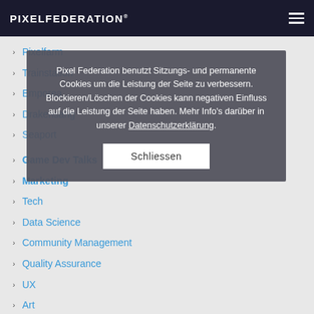PIXELFEDERATION®
Pixel Federation benutzt Sitzungs- und permanente Cookies um die Leistung der Seite zu verbessern. Blockieren/Löschen der Cookies kann negativen Einfluss auf die Leistung der Seite haben. Mehr Info's darüber in unserer Datenschutzerklärung.
Schliessen
Pixelfarm
Trainstation
Emporea
Drakensang
Seaport
Game Dev Talks
Marketing
Tech
Data Science
Community Management
Quality Assurance
UX
Art
Game Design
Social Media
Production
People Team